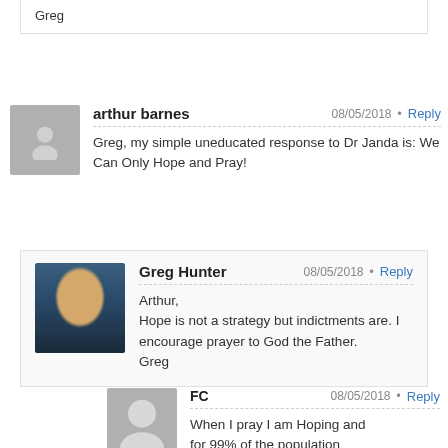Greg
arthur barnes
08/05/2018
Reply
Greg, my simple uneducated response to Dr Janda is: We Can Only Hope and Pray!
Greg Hunter
08/05/2018
Reply
Arthur,
Hope is not a strategy but indictments are. I encourage prayer to God the Father.
Greg
FC
08/05/2018
Reply
When I pray I am Hoping and for 99% of the population